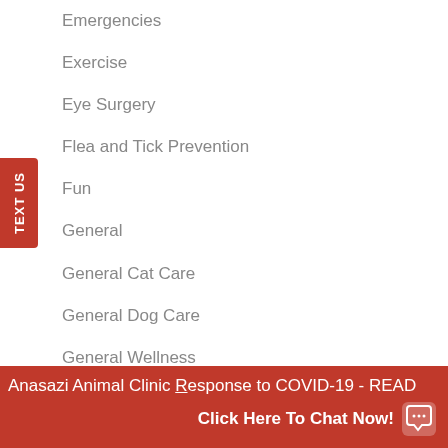Emergencies
Exercise
Eye Surgery
Flea and Tick Prevention
Fun
General
General Cat Care
General Dog Care
General Wellness
Glaucoma Testing
Heart Health
Heartworm
Anasazi Animal Clinic Response to COVID-19 READ  Click Here To Chat Now!